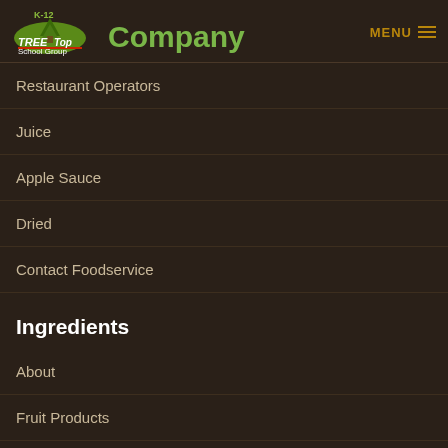K-12 Tree Top Company MENU
Restaurant Operators
Juice
Apple Sauce
Dried
Contact Foodservice
Ingredients
About
Fruit Products
Resources